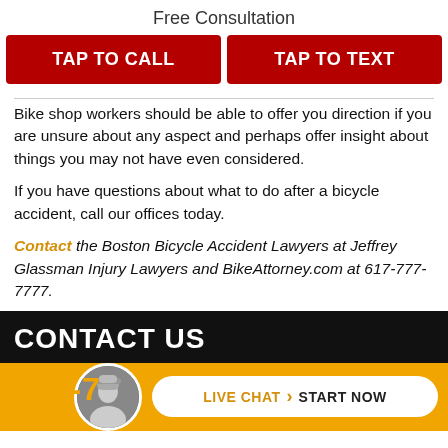Free Consultation
TAP TO CALL
TAP TO TEXT
Bike shop workers should be able to offer you direction if you are unsure about any aspect and perhaps offer insight about things you may not have even considered.
If you have questions about what to do after a bicycle accident, call our offices today.
Contact the Boston Bicycle Accident Lawyers at Jeffrey Glassman Injury Lawyers and BikeAttorney.com at 617-777-7777.
CONTACT US
617-7...
LIVE CHAT  START NOW